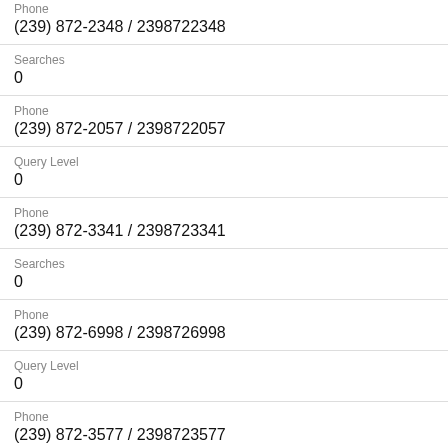Phone
(239) 872-2348 / 2398722348
Searches
0
Phone
(239) 872-2057 / 2398722057
Query Level
0
Phone
(239) 872-3341 / 2398723341
Searches
0
Phone
(239) 872-6998 / 2398726998
Query Level
0
Phone
(239) 872-3577 / 2398723577
Searches